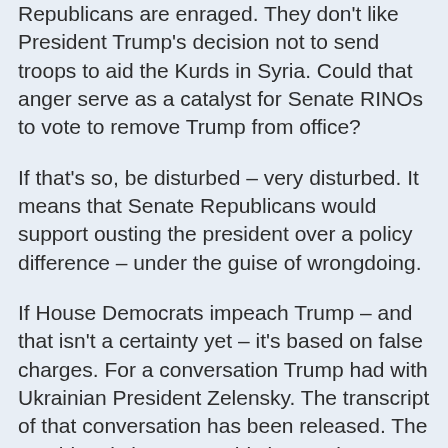Republicans are enraged. They don't like President Trump's decision not to send troops to aid the Kurds in Syria. Could that anger serve as a catalyst for Senate RINOs to vote to remove Trump from office?
If that's so, be disturbed – very disturbed. It means that Senate Republicans would support ousting the president over a policy difference – under the guise of wrongdoing.
If House Democrats impeach Trump – and that isn't a certainty yet – it's based on false charges. For a conversation Trump had with Ukrainian President Zelensky. The transcript of that conversation has been released. The president is innocent. This is Russia Hoax